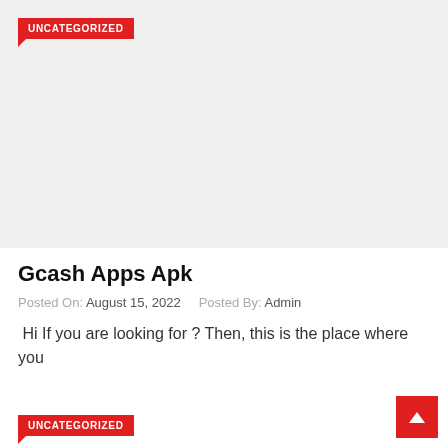[Figure (photo): Light gray placeholder image area for blog post thumbnail]
UNCATEGORIZED
Gcash Apps Apk
Posted On: August 15, 2022   Posted By: Admin
Hi If you are looking for ? Then, this is the place where you
UNCATEGORIZED